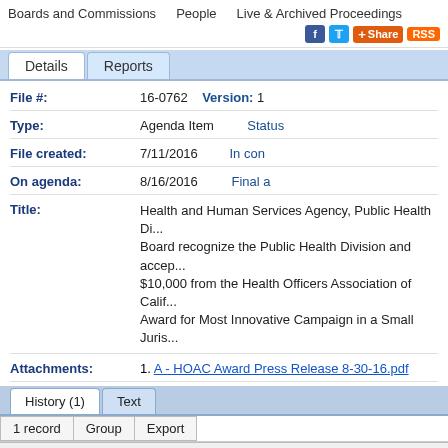Boards and Commissions   People   Live & Archived Proceedings
| Field | Value |
| --- | --- |
| File #: | 16-0762   Version: 1 |
| Type: | Agenda Item   Status |
| File created: | 7/11/2016   In con |
| On agenda: | 8/16/2016   Final a |
| Title: | Health and Human Services Agency, Public Health Di... Board recognize the Public Health Division and accep... $10,000 from the Health Officers Association of Calif... Award for Most Innovative Campaign in a Small Juris... |
| Attachments: | 1. A - HOAC Award Press Release 8-30-16.pdf |
| Date | Ver. | Action By | Action | Result | Action Details | M |
| --- | --- | --- | --- | --- | --- | --- |
| 8/16/2016 | 1 | Board of Supervisors | Approved | Pass | Action details | N |